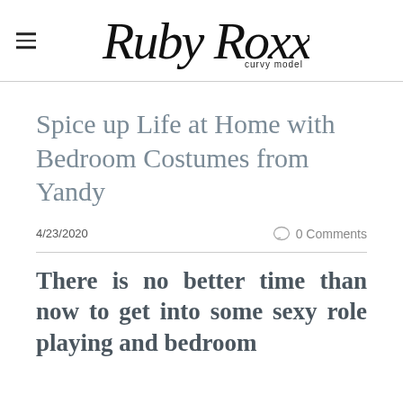Ruby Roxx curvy model
Spice up Life at Home with Bedroom Costumes from Yandy
4/23/2020
0 Comments
There is no better time than now to get into some sexy role playing and bedroom